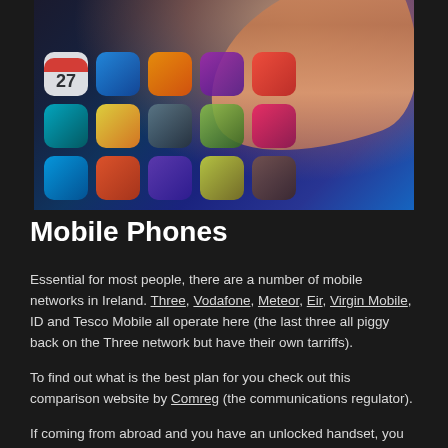[Figure (photo): Close-up photo of a finger touching a smartphone screen showing app icons including calendar showing 27, Twitter bird icon, Messages, and other colorful app icons on a dark blue phone screen.]
Mobile Phones
Essential for most people, there are a number of mobile networks in Ireland. Three, Vodafone, Meteor, Eir, Virgin Mobile, ID and Tesco Mobile all operate here (the last three all piggy back on the Three network but have their own tarriffs).
To find out what is the best plan for you check out this comparison website by Comreg (the communications regulator).
If coming from abroad and you have an unlocked handset, you can simply get a SIM card from any of the above networks and you